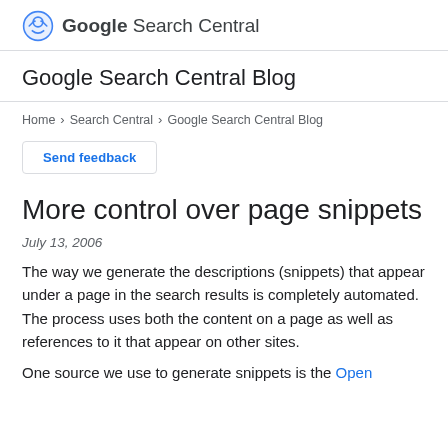Google Search Central
Google Search Central Blog
Home > Search Central > Google Search Central Blog
Send feedback
More control over page snippets
July 13, 2006
The way we generate the descriptions (snippets) that appear under a page in the search results is completely automated. The process uses both the content on a page as well as references to it that appear on other sites.
One source we use to generate snippets is the Open